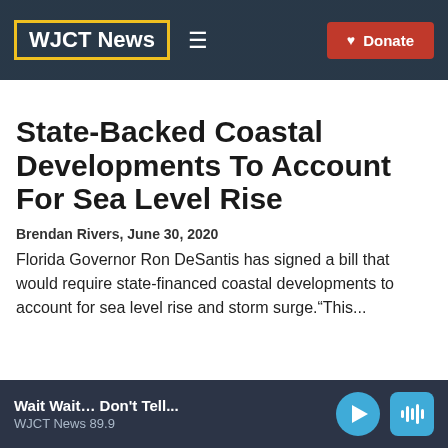WJCT News
State-Backed Coastal Developments To Account For Sea Level Rise
Brendan Rivers, June 30, 2020
Florida Governor Ron DeSantis has signed a bill that would require state-financed coastal developments to account for sea level rise and storm surge.“This...
Wait Wait… Don’t Tell... WJCT News 89.9